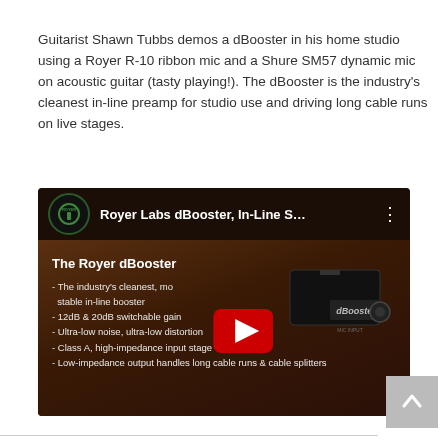Guitarist Shawn Tubbs demos a dBooster in his home studio using a Royer R-10 ribbon mic and a Shure SM57 dynamic mic on acoustic guitar (tasty playing!). The dBooster is the industry's cleanest in-line preamp for studio use and driving long cable runs on live stages.
[Figure (screenshot): YouTube video thumbnail for 'Royer Labs dBooster, In-Line S...' showing a black dBooster device on a wooden surface with bullet-point features listed: The industry's cleanest, most stable in-line booster; 12dB & 20dB switchable gain; Ultra-low noise, ultra-low distortion; Class A, high-impedance input stage; Low-impedance output handles long cable runs & cable splitters. A red play button is centered on the thumbnail.]